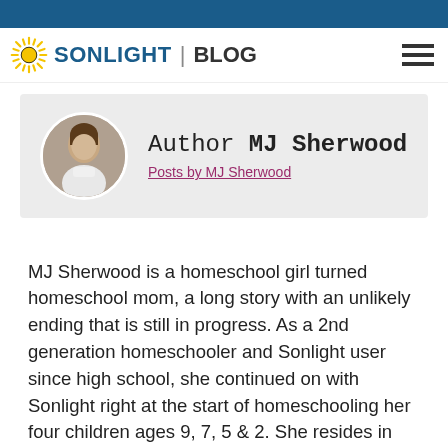SONLIGHT | BLOG
[Figure (other): Author profile card showing circular photo of MJ Sherwood and her name with link to posts]
MJ Sherwood is a homeschool girl turned homeschool mom, a long story with an unlikely ending that is still in progress. As a 2nd generation homeschooler and Sonlight user since high school, she continued on with Sonlight right at the start of homeschooling her four children ages 9, 7, 5 & 2. She resides in Michigan and blogs about homeschooling, motherhood, home